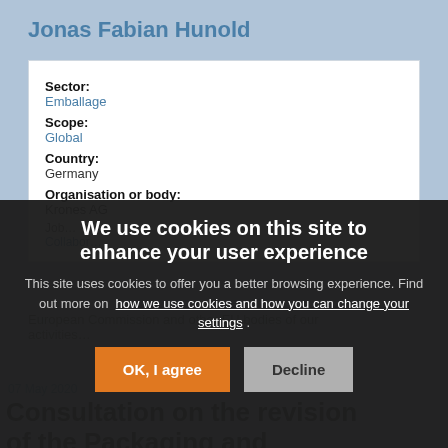Jonas Fabian Hunold
| Sector: | Emballage |
| Scope: | Global |
| Country: | Germany |
| Organisation or body: | Krones AG |
We use cookies on this site to enhance your user experience
This site uses cookies to offer you a better browsing experience. Find out more on how we use cookies and how you can change your settings .
07 May 2020
Consultation on the revision of the Packaging and